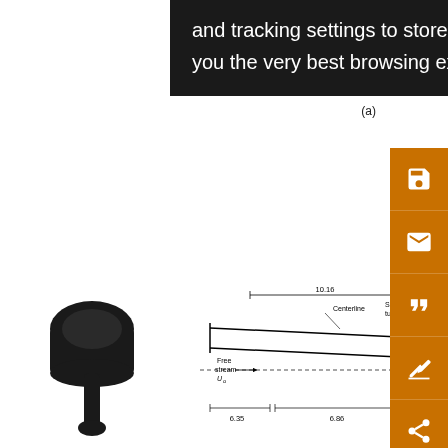and tracking settings to store information that help give you the very best browsing experience.
FIG.
(a)
sca
the
per
Flowfa sub-s
sub
2.22
tub
loc
[Figure (photo): Black microphone/speaker on a stand, side profile view]
[Figure (engineering-diagram): Engineering schematic showing a free stream flow tube setup with dimensions: 10.16 span, 6.35 and 6.86 base measurements, centerline, sample tube tip, free stream U_0, Q_in label, and component annotations]